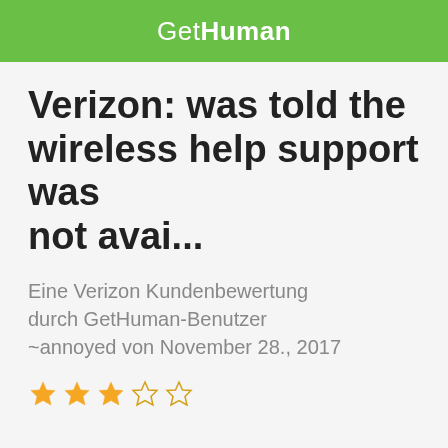GetHuman
Verizon: was told the wireless help support was not avai...
Eine Verizon Kundenbewertung durch GetHuman-Benutzer ~annoyed von November 28., 2017
[Figure (other): 3 out of 5 stars rating shown as star icons (3 filled gold stars, 2 empty stars)]